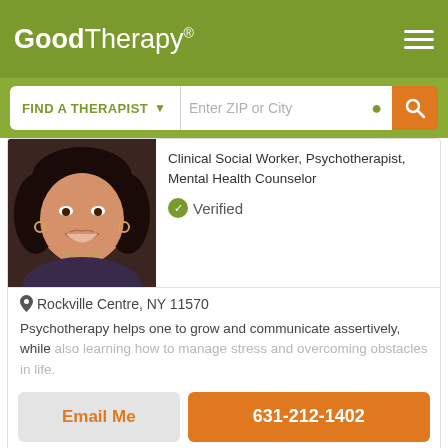GoodTherapy®
FIND A THERAPIST   Enter ZIP or City
Clinical Social Worker, Psychotherapist, Mental Health Counselor
Verified
[Figure (photo): Headshot of a woman with dark hair, smiling, wearing a dark top and hoop earrings]
Rockville Centre, NY 11570
Psychotherapy helps one to grow and communicate assertively, while also learning how to manage stress and overcoming obstacles in life.
Email Me
631-212-1402
GoodTherapy uses cookies to personalize content and ads to provide better services for our users and to analyze our traffic. By continuing to use this site you consent to our cookies.